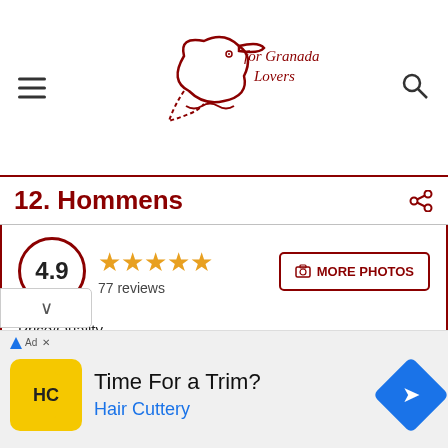for Granada Lovers
12. Hommens
4.9 — 77 reviews — MORE PHOTOS
Price/Quality: 4.4 stars — 4.4
Service: 5 stars — 5
Parking: 4.3 stars — 4.3
Ad: Time For a Trim? Hair Cuttery